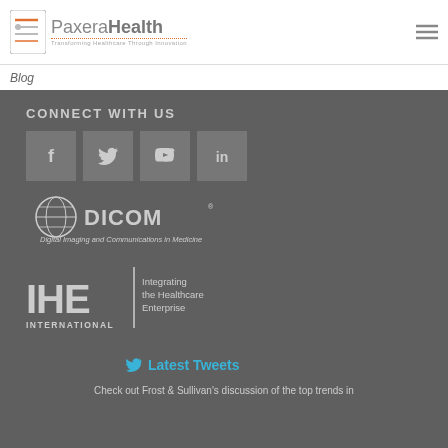[Figure (logo): PaxeraHealth logo — icon with list/circle graphic and text 'PaxeraHealth Transforming Healthcare Through Innovation']
Blog
CONNECT WITH US
[Figure (logo): Social media icons: Facebook, Twitter, YouTube, LinkedIn — grey square buttons]
[Figure (logo): DICOM logo — Digital Imaging and Communications in Medicine]
[Figure (logo): IHE International logo — Integrating the Healthcare Enterprise]
Latest Tweets
Check out Frost & Sullivan's discussion of the top trends in